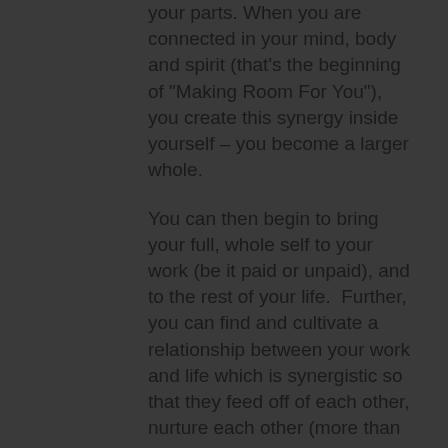your parts. When you are connected in your mind, body and spirit (that's the beginning of "Making Room For You"), you create this synergy inside yourself – you become a larger whole.
You can then begin to bring your full, whole self to your work (be it paid or unpaid), and to the rest of your life.  Further, you can find and cultivate a relationship between your work and life which is synergistic so that they feed off of each other, nurture each other (more than they detract from each other).  You